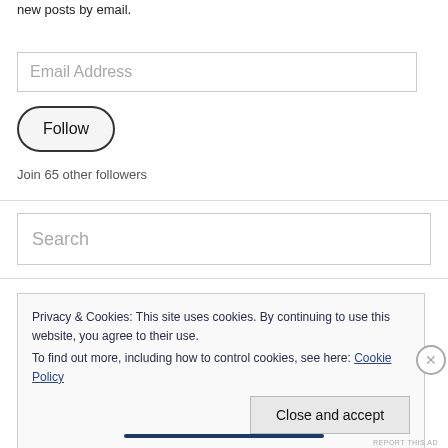new posts by email.
Email Address
Follow
Join 65 other followers
Search
Privacy & Cookies: This site uses cookies. By continuing to use this website, you agree to their use.
To find out more, including how to control cookies, see here: Cookie Policy
Close and accept